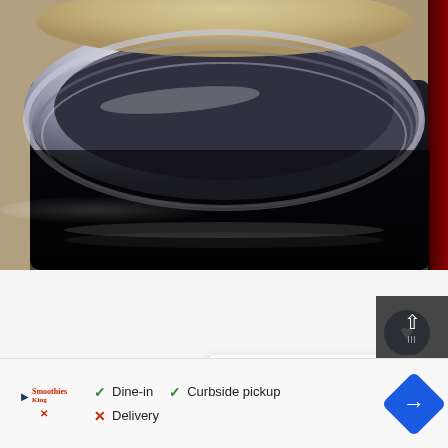[Figure (photo): Close-up photo of a dark metallic pot or appliance with a chrome/steel rim, containing what appears to be rice or grain at the top. The pot body is very dark/black with a reflection highlight. Red accent on the right edge.]
[Figure (infographic): UI overlay elements: heart/like button (dark blue circle with white heart, count of 3), share button (white circle), what's next panel showing spinach artichoke recipe thumbnail with label 'WHAT'S NEXT' and arrow, three carousel dots, scroll-up button, and advertisement bar at bottom with Smoothie King logo, dine-in/curbside pickup/delivery options, and navigation diamond icon.]
WHAT'S NEXT → Spinach Artichoke...
3
✓ Dine-in  ✓ Curbside pickup  ✗ Delivery